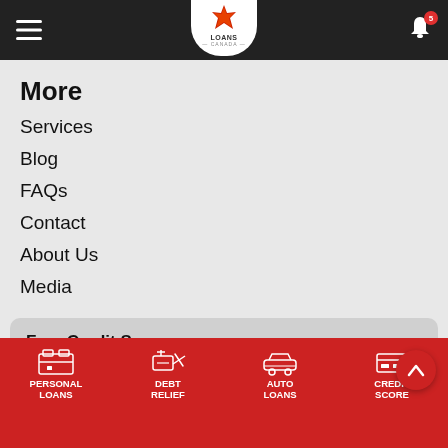[Figure (screenshot): Loans Canada mobile app header with hamburger menu, shield logo with maple leaf, and notification bell with badge showing 5]
More
Services
Blog
FAQs
Contact
About Us
Media
Free Credit Score
Sign up for credit monitoring today for just $1.00 and get your free credit score.
[Figure (screenshot): Bottom navigation bar with icons for Personal Loans, Debt Relief, Auto Loans, Credit Score on red background]